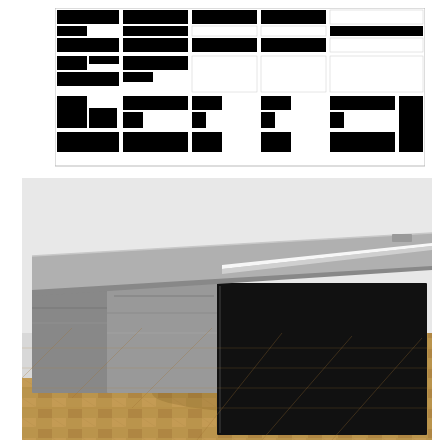[Figure (schematic): Technical schematic / floor plan diagram showing black-and-white grid layout with rectangular blocks arranged in a 5-column, 3-row pattern, resembling a furniture or room layout plan viewed from above.]
[Figure (photo): Photograph of a modern executive desk with a grey/silver tabletop and black modesty panel/pedestal base, sitting on a herringbone wood parquet floor. The desk features clean lines and a minimal design with a slight overhang of the top surface.]